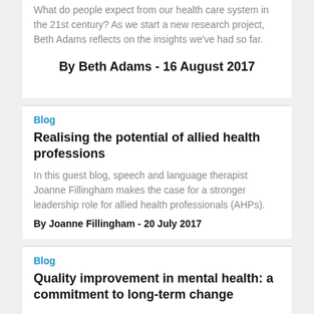What do people expect from our health care system in the 21st century? As we start a new research project, Beth Adams reflects on the insights we've had so far.
By Beth Adams - 16 August 2017
Blog
Realising the potential of allied health professions
In this guest blog, speech and language therapist Joanne Fillingham makes the case for a stronger leadership role for allied health professionals (AHPs).
By Joanne Fillingham - 20 July 2017
Blog
Quality improvement in mental health: a commitment to long-term change